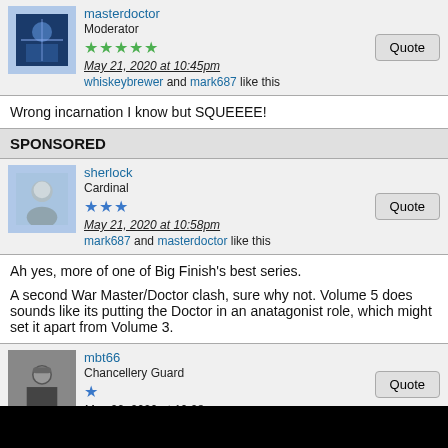masterdoctor
Moderator
May 21, 2020 at 10:45pm
whiskeybrewer and mark687 like this
Wrong incarnation I know but SQUEEEE!
SPONSORED
sherlock
Cardinal
May 21, 2020 at 10:58pm
mark687 and masterdoctor like this
Ah yes, more of one of Big Finish's best series.

A second War Master/Doctor clash, sure why not. Volume 5 does sounds like its putting the Doctor in an anatagonist role, which might set it apart from Volume 3.
mbt66
Chancellery Guard
May 22, 2020 at 10:28am